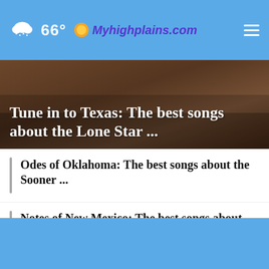66° Myhighplains.com
Tune in to Texas: The best songs about the Lone Star ...
Odes of Oklahoma: The best songs about the Sooner ...
Notes of New Mexico: The best songs about the Land ...
Places we miss in Amarillo: Gone but not forgotten
Five planets align in the pre-dawn sky this June